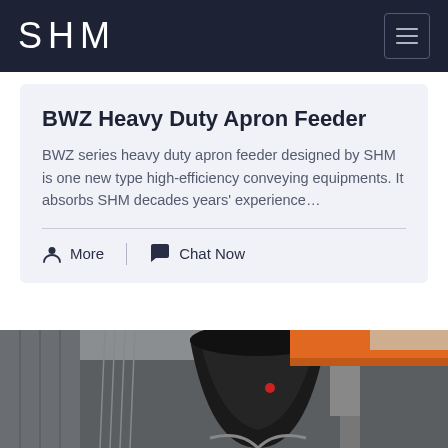SHM
BWZ Heavy Duty Apron Feeder
BWZ series heavy duty apron feeder designed by SHM is one new type high-efficiency conveying equipments. It absorbs SHM decades years' experience...
More   Chat Now
[Figure (photo): Industrial machinery photo showing a large black cone crusher or heavy equipment in a factory/warehouse setting with an orange overhead crane visible in the background.]